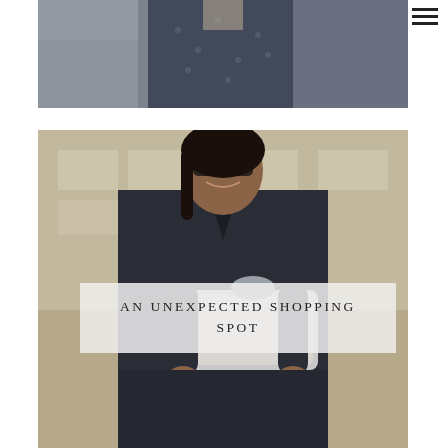[Figure (photo): Fashion photo — top portion showing a person wearing a blue/grey patterned outfit, cropped to torso/shoulder area, blurred urban background]
[Figure (photo): Fashion street style photo — smiling woman wearing a dark navy/black short-sleeve v-neck jumpsuit, holding a grey/white bag, sunglasses, blurred building facade in background]
AN UNEXPECTED SHOPPING SPOT